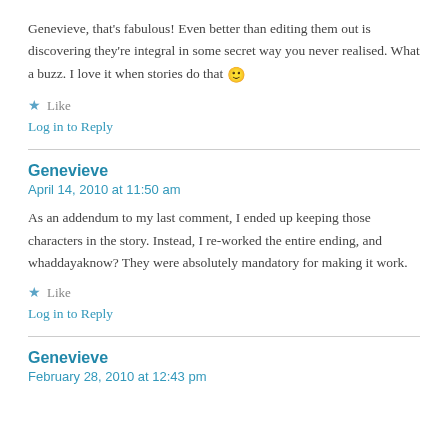Genevieve, that's fabulous! Even better than editing them out is discovering they're integral in some secret way you never realised. What a buzz. I love it when stories do that 🙂
★ Like
Log in to Reply
Genevieve
April 14, 2010 at 11:50 am
As an addendum to my last comment, I ended up keeping those characters in the story. Instead, I re-worked the entire ending, and whaddayaknow? They were absolutely mandatory for making it work.
★ Like
Log in to Reply
Genevieve
February 28, 2010 at 12:43 pm